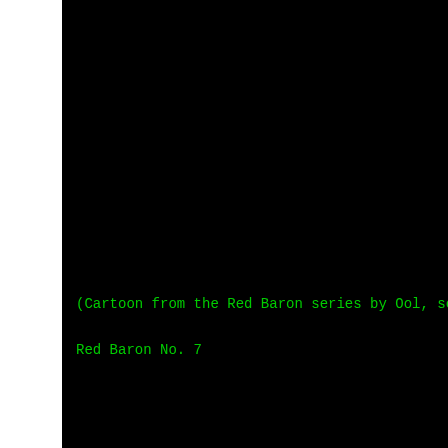(Cartoon from the Red Baron series by Ool, see
Red Baron No. 7
[Figure (illustration): ASCII art illustration showing a partial cartoon figure with biplane elements. Characters visible include: __ / ('__`> /==(o) `\___/ |() / /\ /)__ and airplane wing/fuselage lines made of backslashes, underscores, and dashes.]